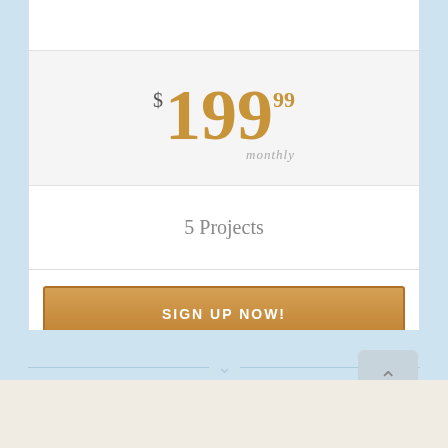$199.99 monthly
5 Projects
SIGN UP NOW!